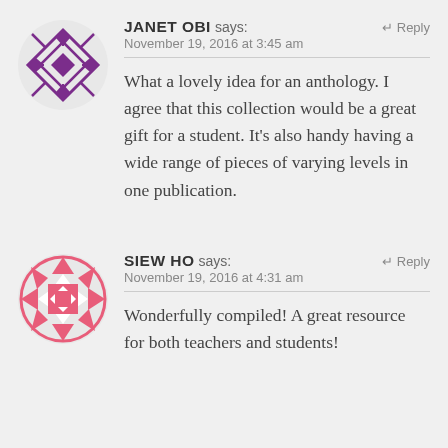[Figure (illustration): Purple geometric diamond/snowflake avatar for Janet Obi]
JANET OBI says:
November 19, 2016 at 3:45 am
Reply
What a lovely idea for an anthology. I agree that this collection would be a great gift for a student. It's also handy having a wide range of pieces of varying levels in one publication.
[Figure (illustration): Pink/coral geometric circular avatar for Siew Ho]
SIEW HO says:
November 19, 2016 at 4:31 am
Reply
Wonderfully compiled! A great resource for both teachers and students!